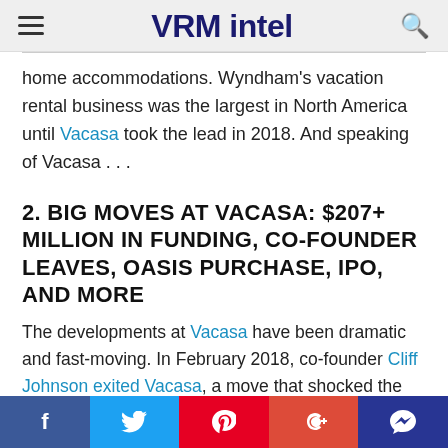VRM intel
home accommodations. Wyndham's vacation rental business was the largest in North America until Vacasa took the lead in 2018. And speaking of Vacasa . . .
2. BIG MOVES AT VACASA: $207+ MILLION IN FUNDING, CO-FOUNDER LEAVES, OASIS PURCHASE, IPO, AND MORE
The developments at Vacasa have been dramatic and fast-moving. In February 2018, co-founder Cliff Johnson exited Vacasa, a move that shocked the entire vacation rental industry. In October 2018, Vacasa announced it had raised an additional $64 million Series B-2 round from
f  Twitter  Pinterest  G+  Comment